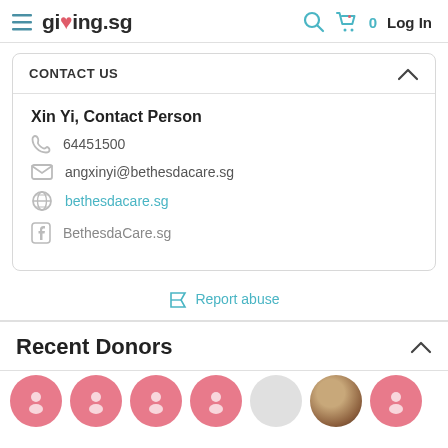giving.sg — Log In
CONTACT US
Xin Yi, Contact Person
64451500
angxinyi@bethesdacare.sg
bethesdacare.sg
BethesdaCare.sg
Report abuse
Recent Donors